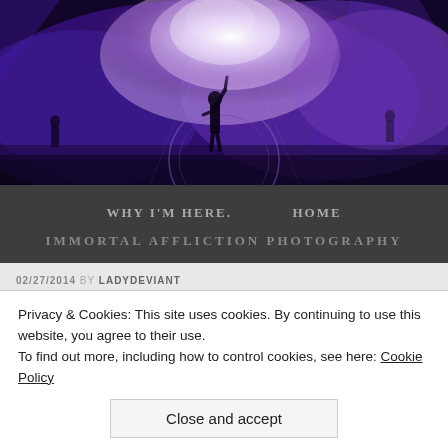[Figure (photo): Concert/music event photo with dramatic purple and white lighting, smoke effects, silhouette of performer on stage with fist raised, other musicians visible on sides, dark atmospheric background]
WHY I'M HERE.    HOME
IMMORTAL AFFLICTION PHOTOGRAPHY
02/27/2014 BY LADYDEVIANT
R... (post title beginning)
Privacy & Cookies: This site uses cookies. By continuing to use this website, you agree to their use.
To find out more, including how to control cookies, see here: Cookie Policy
Close and accept
or difficult choices to make. The rest of us find